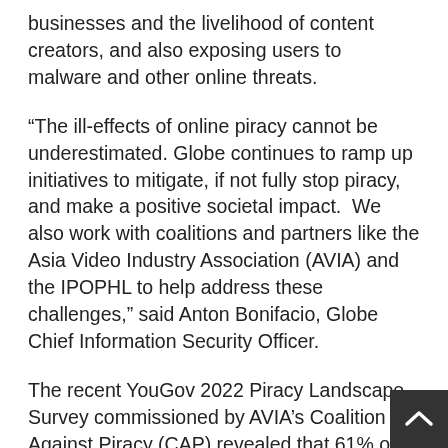businesses and the livelihood of content creators, and also exposing users to malware and other online threats.
“The ill-effects of online piracy cannot be underestimated. Globe continues to ramp up initiatives to mitigate, if not fully stop piracy, and make a positive societal impact.  We also work with coalitions and partners like the Asia Video Industry Association (AVIA) and the IPOPHL to help address these challenges,” said Anton Bonifacio, Globe Chief Information Security Officer.
The recent YouGov 2022 Piracy Landscape Survey commissioned by AVIA’s Coalition Against Piracy (CAP) revealed that 61% of local respondents have consumed pirated content. Their primary sources are social media and messaging platforms at 44 percen